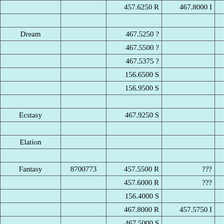| Name | ID | Output Freq | Input Freq | Col5 |
| --- | --- | --- | --- | --- |
|  |  | 457.6250 R | 467.8000 I | 146. |
|  |  |  |  |  |
| Dream |  | 467.5250 ? |  | 186. |
|  |  | 467.5500 ? |  | 203. |
|  |  | 467.5375 ? |  | 203. |
|  |  | 156.6500 S |  | No |
|  |  | 156.9500 S |  | No |
|  |  |  |  |  |
| Ecstasy |  | 467.9250 S |  |  |
|  |  |  |  |  |
| Elation |  |  |  |  |
|  |  |  |  |  |
| Fantasy | 8700773 | 457.5500 R | ??? | DM |
|  |  | 457.6000 R | ??? | DM |
|  |  | 156.4000 S |  | No |
|  |  | 467.8000 R | 457.5750 I | 94.8 |
|  |  | 467.5000 S |  | D-0 |
|  |  |  |  |  |
| Fascination |  | 457.0250 S |  | 123. |
|  |  | 457.0375 R | 457.5000 I |  |